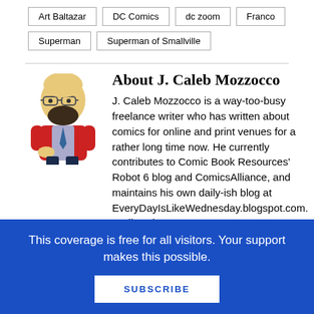Art Baltazar
DC Comics
dc zoom
Franco
Superman
Superman of Smallville
About J. Caleb Mozzocco
J. Caleb Mozzocco is a way-too-busy freelance writer who has written about comics for online and print venues for a rather long time now. He currently contributes to Comic Book Resources' Robot 6 blog and ComicsAlliance, and maintains his own daily-ish blog at EveryDayIsLikeWednesday.blogspot.com. He lives in
This coverage is free for all visitors. Your support makes this possible.
SUBSCRIBE